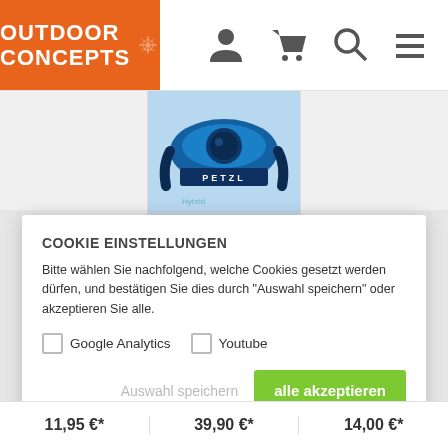[Figure (screenshot): Outdoor Concepts e-commerce website header with orange logo, navigation icons (user, cart, search, menu)]
[Figure (photo): Petzl ACTIK 350 Lumen headlamp product image in blue]
Petzl
ACTIK 350Lumen
40,00 €*
COOKIE EINSTELLUNGEN
Bitte wählen Sie nachfolgend, welche Cookies gesetzt werden dürfen, und bestätigen Sie dies durch "Auswahl speichern" oder akzeptieren Sie alle.
Google Analytics
Youtube
Auswahl speichern
alle akzeptieren
11,95 €* | 39,90 €* | 14,00 €*